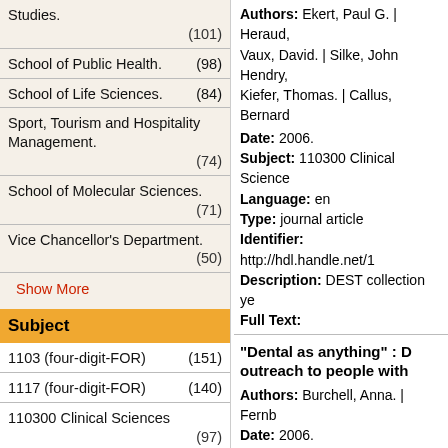Studies. (101)
School of Public Health. (98)
School of Life Sciences. (84)
Sport, Tourism and Hospitality Management. (74)
School of Molecular Sciences. (71)
Vice Chancellor's Department. (50)
Show More
Subject
1103 (four-digit-FOR)    (151)
1117 (four-digit-FOR)    (140)
110300 Clinical Sciences    (97)
Authors: Ekert, Paul G. | Heraud, Vaux, David. | Silke, John Hendry, Kiefer, Thomas. | Callus, Bernard
Date: 2006.
Subject: 110300 Clinical Science
Language: en
Type: journal article
Identifier: http://hdl.handle.net/1
Description: DEST collection ye
Full Text:
"Dental as anything" : D outreach to people with
Authors: Burchell, Anna. | Fernb
Date: 2006.
Subject: 321208 Primary Health
Language: en
Type: journal article
Identifier: http://hdl.handle.net/1
Description: DEST collection ye
"Just like a death" : the in Mobile, Alabama, and